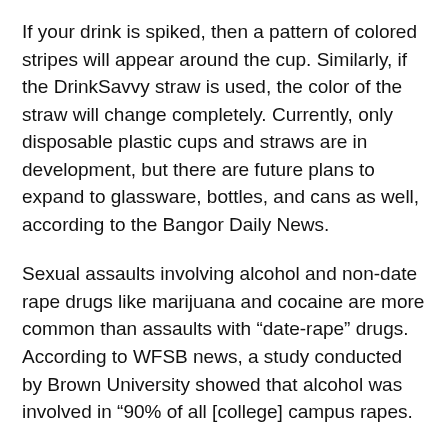If your drink is spiked, then a pattern of colored stripes will appear around the cup. Similarly, if the DrinkSavvy straw is used, the color of the straw will change completely. Currently, only disposable plastic cups and straws are in development, but there are future plans to expand to glassware, bottles, and cans as well, according to the Bangor Daily News.
Sexual assaults involving alcohol and non-date rape drugs like marijuana and cocaine are more common than assaults with “date-rape” drugs. According to WFSB news, a study conducted by Brown University showed that alcohol was involved in “90% of all [college] campus rapes.
Still, Abramson says the risks of “date rape” drugs are real, according to the Guardian. He goes on to say that while DrinksSavvy products are currently “focused on combating